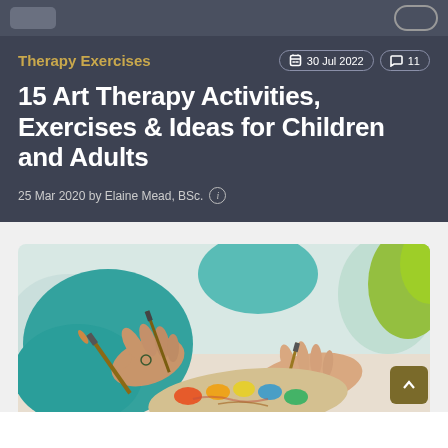Therapy Exercises | 30 Jul 2022 | 11 comments
15 Art Therapy Activities, Exercises & Ideas for Children and Adults
25 Mar 2020 by Elaine Mead, BSc.
[Figure (photo): Close-up photo of hands holding paintbrushes, painting on a colorful canvas. Person is wearing a teal top. Paint-covered palette visible in the foreground.]